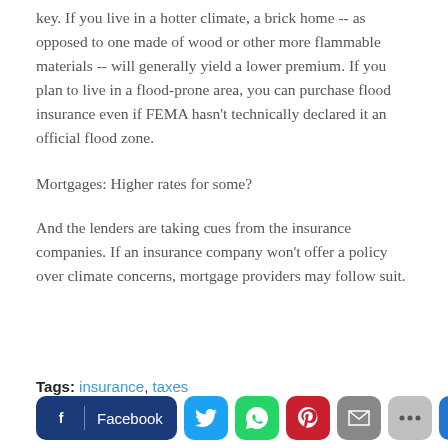key. If you live in a hotter climate, a brick home -- as opposed to one made of wood or other more flammable materials -- will generally yield a lower premium. If you plan to live in a flood-prone area, you can purchase flood insurance even if FEMA hasn't technically declared it an official flood zone.
Mortgages: Higher rates for some?
And the lenders are taking cues from the insurance companies. If an insurance company won't offer a policy over climate concerns, mortgage providers may follow suit.
Tags: insurance, taxes
[Figure (other): Social share bar with Facebook, Twitter, WhatsApp, Pinterest, Email, More, and scroll-to-top buttons]